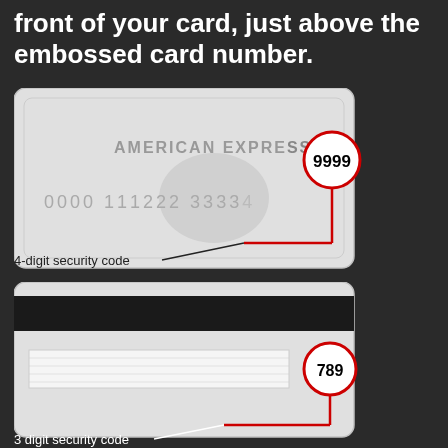front of your card, just above the embossed card number.
[Figure (illustration): Illustration of the front of an American Express credit card showing the 4-digit security code (9999) circled in red above the embossed card number 0000 111222 33334, with a red arrow and label '4-digit security code']
[Figure (illustration): Illustration of the back of a credit card showing a magnetic stripe, a signature strip with the 3-digit security code (789) circled in red, with a red line and label '3 digit security code']